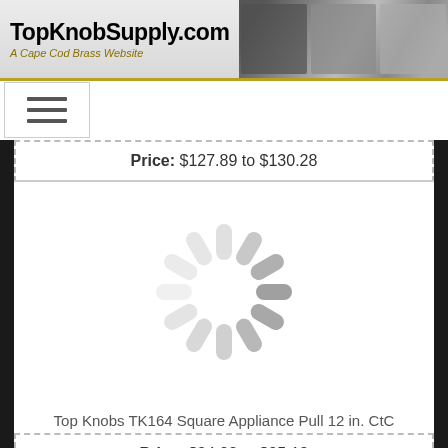[Figure (screenshot): TopKnobSupply.com website header with logo text and product photos of cabinet hardware]
[Figure (illustration): Hamburger menu button icon with three horizontal lines]
Price: $127.89 to $130.28
[Figure (illustration): Loading spinner animation placeholder for product image]
Top Knobs TK164 Square Appliance Pull 12 in. CtC
Price: $94.23 to $95.18
[Figure (illustration): Loading spinner animation placeholder for second product image]